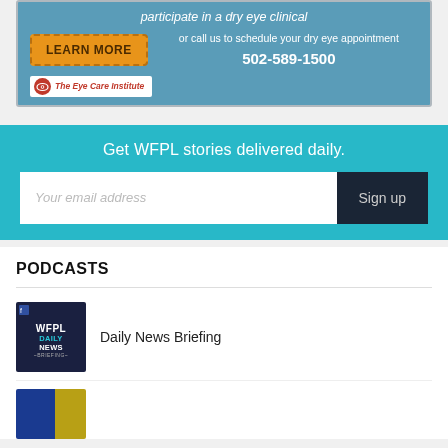[Figure (infographic): Eye Care Institute advertisement banner with 'participate in a dry eye clinical' text, orange 'LEARN MORE' button, phone number 502-589-1500, and The Eye Care Institute logo]
Get WFPL stories delivered daily.
Your email address
Sign up
PODCASTS
Daily News Briefing
[Figure (logo): WFPL Daily News Briefing podcast thumbnail - dark blue square with WFPL DAILY NEWS BRIEFING text]
[Figure (logo): Second podcast thumbnail - partially visible, blue and yellow/gold colors]